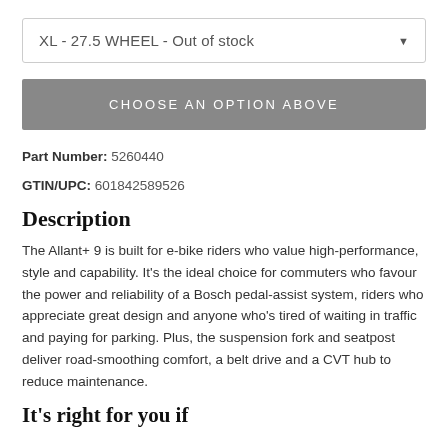XL - 27.5 WHEEL - Out of stock
CHOOSE AN OPTION ABOVE
Part Number: 5260440
GTIN/UPC: 601842589526
Description
The Allant+ 9 is built for e-bike riders who value high-performance, style and capability. It's the ideal choice for commuters who favour the power and reliability of a Bosch pedal-assist system, riders who appreciate great design and anyone who's tired of waiting in traffic and paying for parking. Plus, the suspension fork and seatpost deliver road-smoothing comfort, a belt drive and a CVT hub to reduce maintenance.
It's right for you if